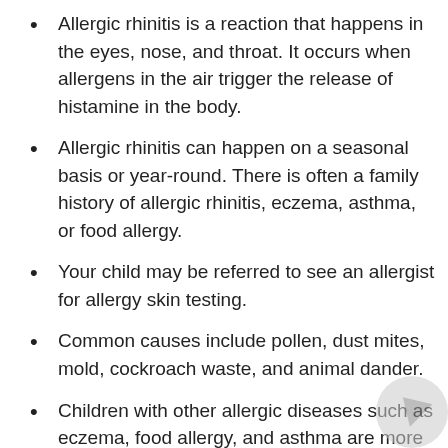Allergic rhinitis is a reaction that happens in the eyes, nose, and throat. It occurs when allergens in the air trigger the release of histamine in the body.
Allergic rhinitis can happen on a seasonal basis or year-round. There is often a family history of allergic rhinitis, eczema, asthma, or food allergy.
Your child may be referred to see an allergist for allergy skin testing.
Common causes include pollen, dust mites, mold, cockroach waste, and animal dander.
Children with other allergic diseases such as eczema, food allergy, and asthma are more likely to also have allergic rhinitis.
Treatment may include staying away from